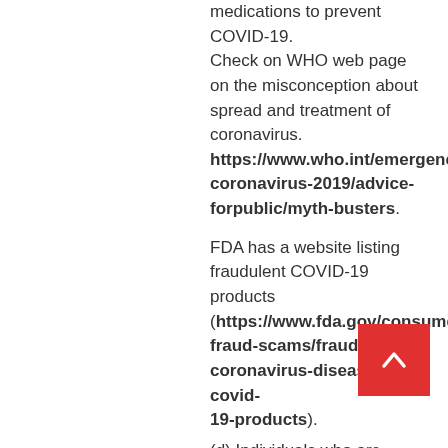medications to prevent COVID-19. Check on WHO web page on the misconception about spread and treatment of coronavirus. https://www.who.int/emergencies/diseases/novel-coronavirus-2019/advice-forpublic/myth-busters.
FDA has a website listing fraudulent COVID-19 products (https://www.fda.gov/consumers/health-fraud-scams/fraudulent-coronavirus-disease2019-covid-19-products).
(d) Individuals who are currently receiving immune modulation or have recently completed immune modulation with lack of recovery of the immune system are at a higher risk, and